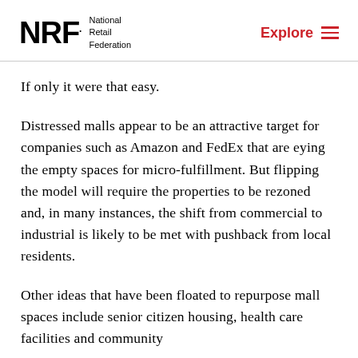NRF National Retail Federation | Explore
If only it were that easy.
Distressed malls appear to be an attractive target for companies such as Amazon and FedEx that are eying the empty spaces for micro-fulfillment. But flipping the model will require the properties to be rezoned and, in many instances, the shift from commercial to industrial is likely to be met with pushback from local residents.
Other ideas that have been floated to repurpose mall spaces include senior citizen housing, health care facilities and community